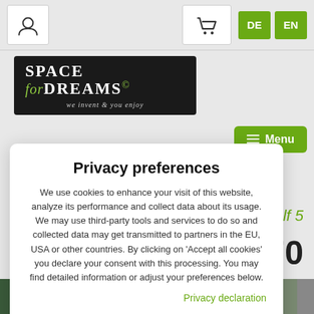Navigation bar with user icon, cart icon, DE and EN language buttons
[Figure (logo): Space for Dreams logo — dark background, serif text 'SPACE for DREAMS©', subtitle 'we invent & you enjoy']
Privacy preferences
We use cookies to enhance your visit of this website, analyze its performance and collect data about its usage. We may use third-party tools and services to do so and collected data may get transmitted to partners in the EU, USA or other countries. By clicking on 'Accept all cookies' you declare your consent with this processing. You may find detailed information or adjust your preferences below.
Privacy declaration
Show details
Accept all cookies
Reject all